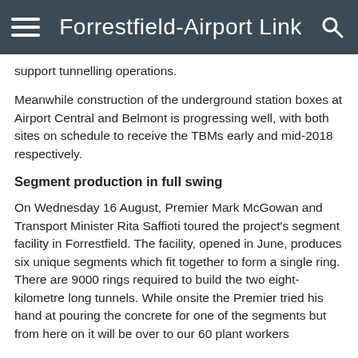Forrestfield-Airport Link
support tunnelling operations.
Meanwhile construction of the underground station boxes at Airport Central and Belmont is progressing well, with both sites on schedule to receive the TBMs early and mid-2018 respectively.
Segment production in full swing
On Wednesday 16 August, Premier Mark McGowan and Transport Minister Rita Saffioti toured the project's segment facility in Forrestfield. The facility, opened in June, produces six unique segments which fit together to form a single ring. There are 9000 rings required to build the two eight-kilometre long tunnels. While onsite the Premier tried his hand at pouring the concrete for one of the segments but from here on it will be over to our 60 plant workers